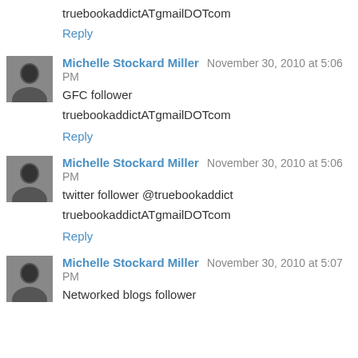truebookaddictATgmailDOTcom
Reply
Michelle Stockard Miller  November 30, 2010 at 5:06 PM
GFC follower
truebookaddictATgmailDOTcom
Reply
Michelle Stockard Miller  November 30, 2010 at 5:06 PM
twitter follower @truebookaddict
truebookaddictATgmailDOTcom
Reply
Michelle Stockard Miller  November 30, 2010 at 5:07 PM
Networked blogs follower